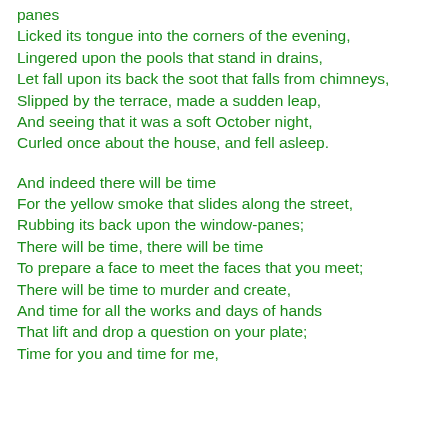panes
Licked its tongue into the corners of the evening,
Lingered upon the pools that stand in drains,
Let fall upon its back the soot that falls from chimneys,
Slipped by the terrace, made a sudden leap,
And seeing that it was a soft October night,
Curled once about the house, and fell asleep.

And indeed there will be time
For the yellow smoke that slides along the street,
Rubbing its back upon the window-panes;
There will be time, there will be time
To prepare a face to meet the faces that you meet;
There will be time to murder and create,
And time for all the works and days of hands
That lift and drop a question on your plate;
Time for you and time for me,